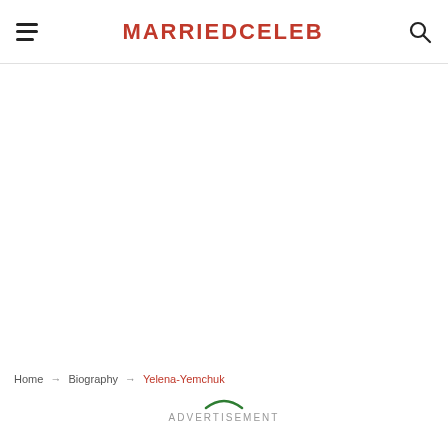MARRIEDCELEB
Home → Biography → Yelena-Yemchuk
ADVERTISEMENT